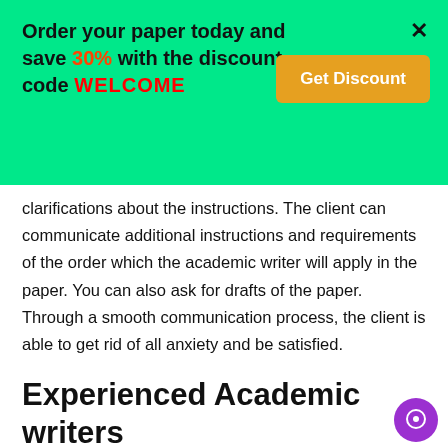Order your paper today and save 30% with the discount code WELCOME
Get Discount
clarifications about the instructions. The client can communicate additional instructions and requirements of the order which the academic writer will apply in the paper. You can also ask for drafts of the paper. Through a smooth communication process, the client is able to get rid of all anxiety and be satisfied.
Experienced Academic writers
Our writers have already helped hundreds of students from all over the world. It does not matter where you are; you can get professional academic help. All our academic